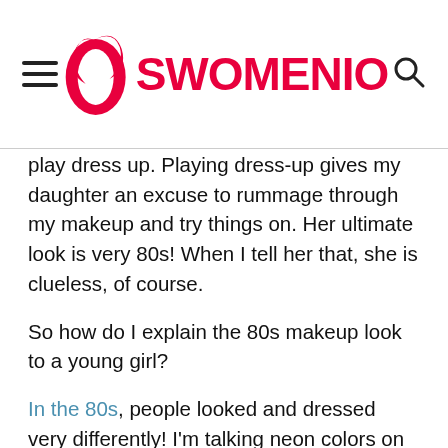SWOMENIO
play dress up. Playing dress-up gives my daughter an excuse to rummage through my makeup and try things on. Her ultimate look is very 80s! When I tell her that, she is clueless, of course.
So how do I explain the 80s makeup look to a young girl?
In the 80s, people looked and dressed very differently! I'm talking neon colors on shoes and clothing, with bright